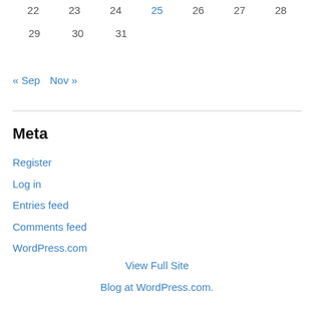| 22 | 23 | 24 | 25 | 26 | 27 | 28 |
| 29 | 30 | 31 |  |  |  |  |
« Sep   Nov »
Meta
Register
Log in
Entries feed
Comments feed
WordPress.com
View Full Site
Blog at WordPress.com.